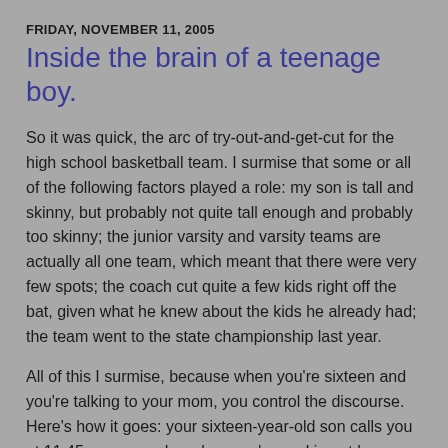FRIDAY, NOVEMBER 11, 2005
Inside the brain of a teenage boy.
So it was quick, the arc of try-out-and-get-cut for the high school basketball team. I surmise that some or all of the following factors played a role: my son is tall and skinny, but probably not quite tall enough and probably too skinny; the junior varsity and varsity teams are actually all one team, which meant that there were very few spots; the coach cut quite a few kids right off the bat, given what he knew about the kids he already had; the team went to the state championship last year.
All of this I surmise, because when you're sixteen and you're talking to your mom, you control the discourse. Here's how it goes: your sixteen-year-old son calls you at 11:45 a.m. on a day when you're working at home. He's stayed home sick. He wants to know if you want to go to lunch. Sure! You're so ready, at any moment of any day, to go to lunch or anything else with your sixteen-year-old son. You shut down your